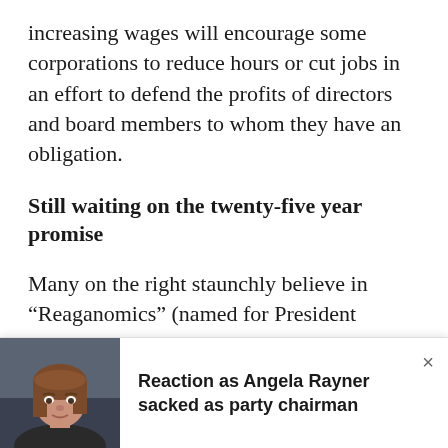increasing wages will encourage some corporations to reduce hours or cut jobs in an effort to defend the profits of directors and board members to whom they have an obligation.
Still waiting on the twenty-five year promise
Many on the right staunchly believe in “Reaganomics” (named for President Ronald Reagan), or “trickle-down economics”, which claims alleviating tax burdens on corporations and wealthy businessmen and women encourages reinvestment, creating a positive effect on those further down the economic chain.
A quarter of a century since Reagan left the White
[Figure (photo): Photo of a woman with brown hair, Angela Rayner]
Reaction as Angela Rayner sacked as party chairman